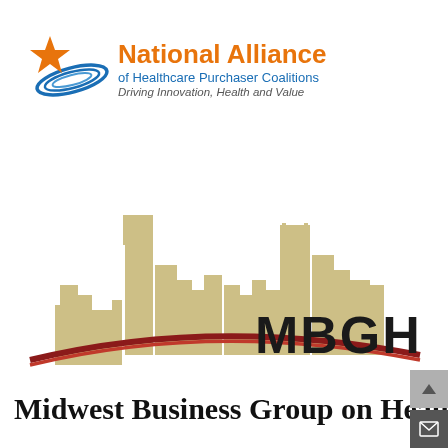[Figure (logo): National Alliance of Healthcare Purchaser Coalitions logo with orange star, blue swirl, orange and blue text reading 'National Alliance of Healthcare Purchaser Coalitions - Driving Innovation, Health and Value']
[Figure (logo): MBGH - Midwest Business Group on Health logo featuring a tan/beige Chicago skyline silhouette with a red arc swoosh and 'MBGH' text in large bold letters, with 'Midwest Business Group on Health' in large serif text below]